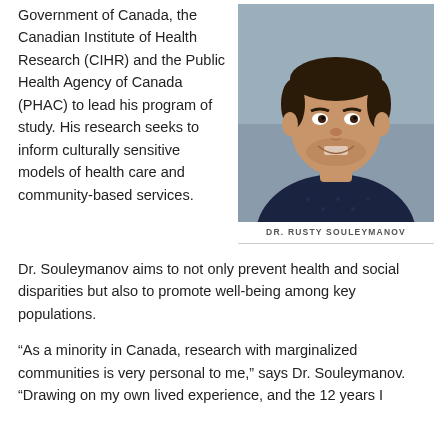Government of Canada, the Canadian Institute of Health Research (CIHR) and the Public Health Agency of Canada (PHAC) to lead his program of study. His research seeks to inform culturally sensitive models of health care and community-based services.
[Figure (photo): Headshot of Dr. Rusty Souleymanov, a man smiling, wearing a dark patterned shirt, against a grey background.]
DR. RUSTY SOULEYMANOV
Dr. Souleymanov aims to not only prevent health and social disparities but also to promote well-being among key populations.
“As a minority in Canada, research with marginalized communities is very personal to me,” says Dr. Souleymanov. “Drawing on my own lived experience, and the 12 years I